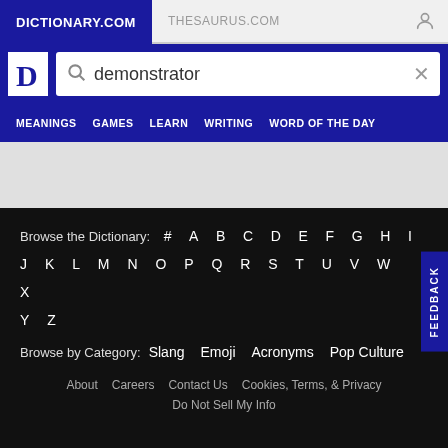DICTIONARY.COM    THESAURUS.COM
[Figure (screenshot): Dictionary.com logo - white D on blue square]
demonstrator
MEANINGS   GAMES   LEARN   WRITING   WORD OF THE DAY
Browse the Dictionary:  #  A  B  C  D  E  F  G  H  I  J  K  L  M  N  O  P  Q  R  S  T  U  V  W  X  Y  Z
Browse by Category:  Slang  Emoji  Acronyms  Pop Culture
About   Careers   Contact Us   Cookies, Terms, & Privacy
Do Not Sell My Info